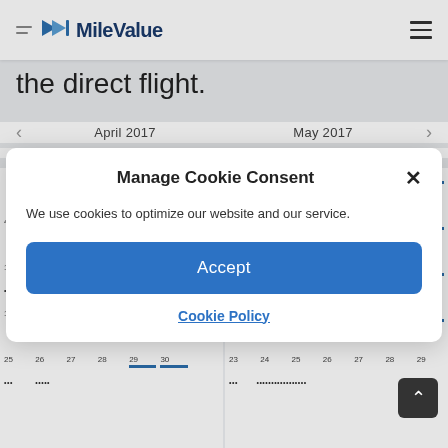MileValue
the direct flight.
April 2017   May 2017
SUN MON TUE WED THU FRI SAT   SUN MON TUE WED THU FRI SAT
[Figure (screenshot): Two-month calendar view showing April 2017 and May 2017 with blue bars and dots indicating flight availability on various dates]
Manage Cookie Consent
We use cookies to optimize our website and our service.
Accept
Cookie Policy